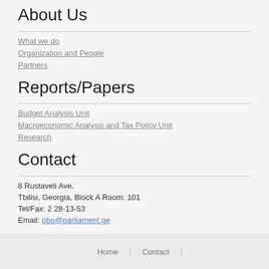About Us
What we do
Organization and People
Partners
Reports/Papers
Budget Analysis Unit
Macroeconomic Analysis and Tax Policy Unit
Research
Contact
8 Rustaveli Ave.
Tbilisi, Georgia, Block A Room: 101
Tel/Fax: 2 28-13-53
Email: pbo@parliament.ge
[Figure (logo): Facebook icon button - blue rounded square with white 'f' logo]
Home | Contact